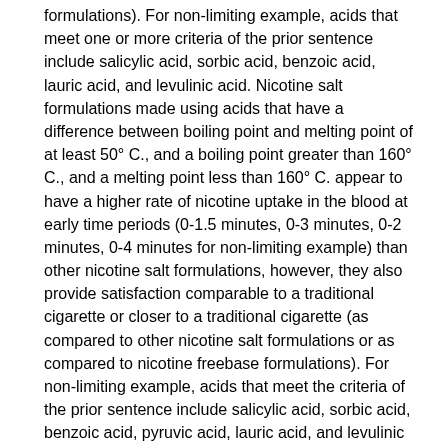formulations). For non-limiting example, acids that meet one or more criteria of the prior sentence include salicylic acid, sorbic acid, benzoic acid, lauric acid, and levulinic acid. Nicotine salt formulations made using acids that have a difference between boiling point and melting point of at least 50° C., and a boiling point greater than 160° C., and a melting point less than 160° C. appear to have a higher rate of nicotine uptake in the blood at early time periods (0-1.5 minutes, 0-3 minutes, 0-2 minutes, 0-4 minutes for non-limiting example) than other nicotine salt formulations, however, they also provide satisfaction comparable to a traditional cigarette or closer to a traditional cigarette (as compared to other nicotine salt formulations or as compared to nicotine freebase formulations). For non-limiting example, acids that meet the criteria of the prior sentence include salicylic acid, sorbic acid, benzoic acid, pyruvic acid, lauric acid, and levulinic acid. Nicotine salt formulations made using acids that have a difference between boiling point and melting point of at least 50° C., and a boiling point at most 40° C. less than operating temperature, and a melting point at least 40° C. lower than operating temperature appear to have a higher rate of nicotine uptake in the blood at early